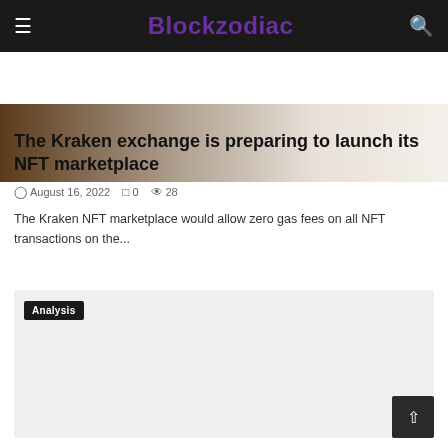Blockzodiac
[Figure (photo): Partial hero image showing a dark wooden surface and light background, cropped at top of article]
The Kraken exchange is preparing to launch its NFT marketplace
August 16, 2022  0  28
The Kraken NFT marketplace would allow zero gas fees on all NFT transactions on the...
Analysis